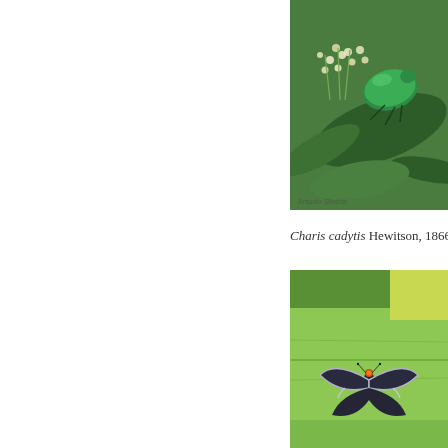[Figure (photo): A metallic green beetle on plant with white flowers and green leaves. Photo credit: Antonio Silveira.]
Charis cadytis Hewitson, 1866
[Figure (photo): A small dark butterfly with orange spot resting on a green leaf.]